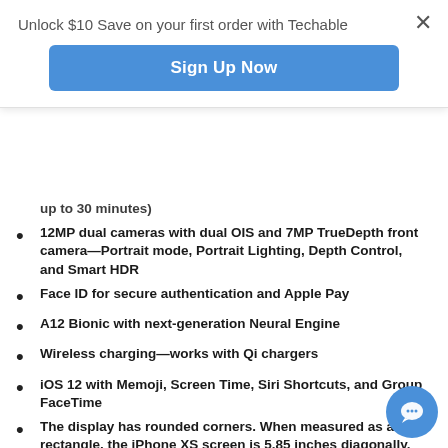Unlock $10 Save on your first order with Techable
Sign Up Now
up to 30 minutes)
12MP dual cameras with dual OIS and 7MP TrueDepth front camera—Portrait mode, Portrait Lighting, Depth Control, and Smart HDR
Face ID for secure authentication and Apple Pay
A12 Bionic with next-generation Neural Engine
Wireless charging—works with Qi chargers
iOS 12 with Memoji, Screen Time, Siri Shortcuts, and Group FaceTime
The display has rounded corners. When measured as a rectangle, the iPhone XS screen is 5.85 inches diagonally. Actual viewable area is less.
²iPhone XS is splash, water, and dust resistant and was tested under controlled laboratory conditions with a rating of IP68 under IEC standard 60529 (maximum depth of 2 meters up to 30 minutes).
Splash, water, and dust resistance are not permanent